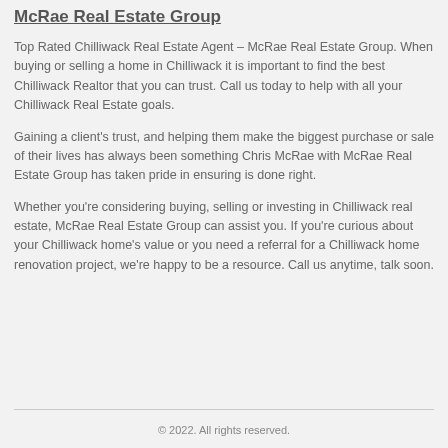McRae Real Estate Group
Top Rated Chilliwack Real Estate Agent – McRae Real Estate Group. When buying or selling a home in Chilliwack it is important to find the best Chilliwack Realtor that you can trust. Call us today to help with all your Chilliwack Real Estate goals.
Gaining a client's trust, and helping them make the biggest purchase or sale of their lives has always been something Chris McRae with McRae Real Estate Group has taken pride in ensuring is done right.
Whether you're considering buying, selling or investing in Chilliwack real estate, McRae Real Estate Group can assist you. If you're curious about your Chilliwack home's value or you need a referral for a Chilliwack home renovation project, we're happy to be a resource. Call us anytime, talk soon.
© 2022. All rights reserved.